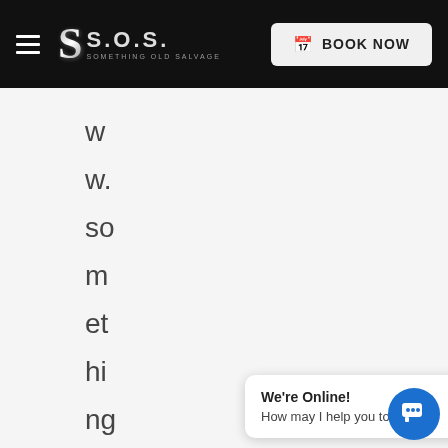S.O.S. Something Old Salvage — BOOK NOW navigation bar
w
w.
so
m
et
hi
ng
ol
We're Online! How may I help you today?